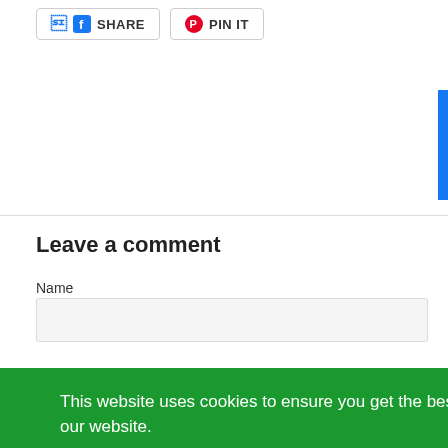[Figure (screenshot): Social share buttons: Facebook SHARE and Pinterest PIN IT buttons with icons]
Leave a comment
Name
This website uses cookies to ensure you get the best experience on our website.
Learn More
Got it!
GET 10% OFF 🎁